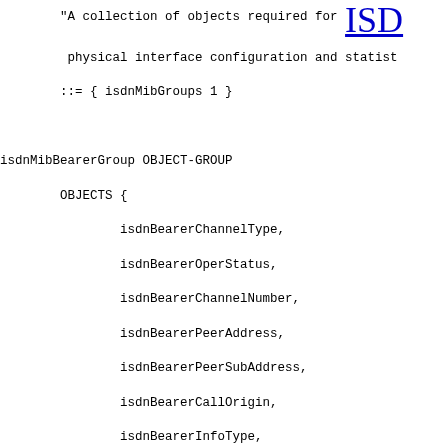"A collection of objects required for ISD
 physical interface configuration and statist
 ::= { isdnMibGroups 1 }

isdnMibBearerGroup OBJECT-GROUP
        OBJECTS {
                isdnBearerChannelType,
                isdnBearerOperStatus,
                isdnBearerChannelNumber,
                isdnBearerPeerAddress,
                isdnBearerPeerSubAddress,
                isdnBearerCallOrigin,
                isdnBearerInfoType,
                isdnBearerMultirate,
                isdnBearerCallSetupTime,
                isdnBearerCallConnectTime,
                isdnBearerChargedUnits
        }
        STATUS      current
        DESCRIPTION

                "A collection of objects required for ISD
                 control and statistics."
        ::= { isdnMibGroups 2 }

isdnMibSignalingGroup OBJECT-GROUP
        OBJECTS {
                isdnSignalingGetIndex,